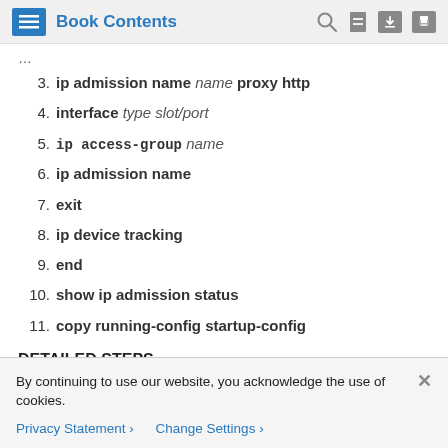Book Contents
3. ip admission name name proxy http
4. interface type slot/port
5. ip access-group name
6. ip admission name
7. exit
8. ip device tracking
9. end
10. show ip admission status
11. copy running-config startup-config
DETAILED STEPS
By continuing to use our website, you acknowledge the use of cookies.
Privacy Statement > Change Settings >